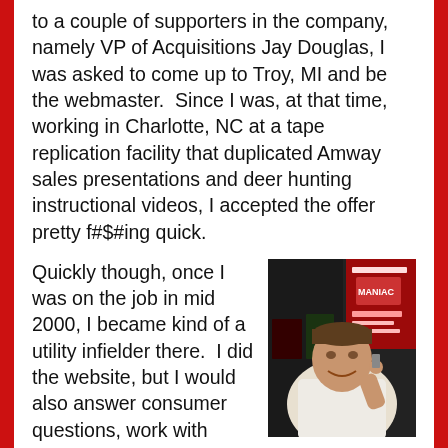to a couple of supporters in the company, namely VP of Acquisitions Jay Douglas, I was asked to come up to Troy, MI and be the webmaster.  Since I was, at that time, working in Charlotte, NC at a tape replication facility that duplicated Amway sales presentations and deer hunting instructional videos, I accepted the offer pretty f#$#ing quick.
Quickly though, once I was on the job in mid 2000, I became kind of a utility infielder there.  I did the website, but I would also answer consumer questions, work with acquisitions on finding new titles, attend marketing meetings, consult on cover art, and eventually attended horror conventions for the company as well.  I wrote liner notes and did research for a ton of titles there, and I helped out
[Figure (photo): A man in a white shirt smiling and holding something up, standing in front of horror movie posters including one for 'Maniac']